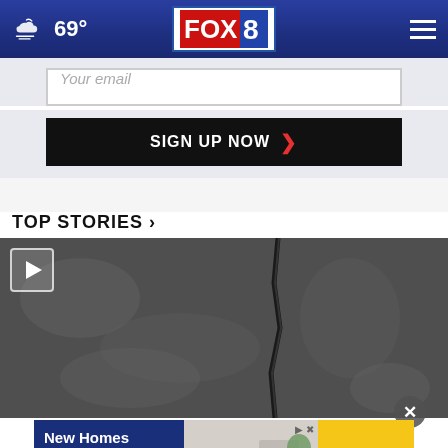FOX 8 — 69°
Your email
SIGN UP NOW ›
TOP STORIES ›
[Figure (photo): Dark video thumbnail showing a cracked surface, with a play button overlay in the top-left corner]
[Figure (infographic): Advertisement banner: New Homes From $277k in Northwest Indiana — Explore Homes]